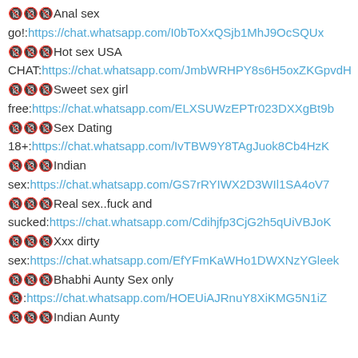🔞🔞🔞Anal sex
go!: https://chat.whatsapp.com/I0bToXxQSjb1MhJ9OcSQUx
🔞🔞🔞Hot sex USA
CHAT: https://chat.whatsapp.com/JmbWRHPY8s6H5oxZKGpvdH
🔞🔞🔞Sweet sex girl
free: https://chat.whatsapp.com/ELXSUWzEPTr023DXXgBt9b
🔞🔞🔞Sex Dating
18+: https://chat.whatsapp.com/IvTBW9Y8TAgJuok8Cb4HzK
🔞🔞🔞Indian
sex: https://chat.whatsapp.com/GS7rRYIWX2D3WIl1SA4oV7
🔞🔞🔞Real sex..fuck and
sucked: https://chat.whatsapp.com/Cdihjfp3CjG2h5qUiVBJoK
🔞🔞🔞Xxx dirty
sex: https://chat.whatsapp.com/EfYFmKaWHo1DWXNzYGleek
🔞🔞🔞Bhabhi Aunty Sex only
🔞: https://chat.whatsapp.com/HOEUiAJRnuY8XiKMG5N1iZ
🔞🔞🔞Indian Aunty